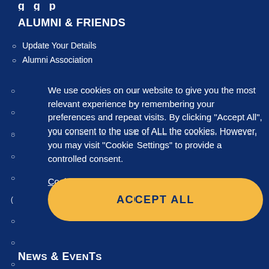g g p
ALUMNI & FRIENDS
Update Your Details
Alumni Association
We use cookies on our website to give you the most relevant experience by remembering your preferences and repeat visits. By clicking “Accept All”, you consent to the use of ALL the cookies. However, you may visit "Cookie Settings" to provide a controlled consent.
Cookie Settings
ACCEPT ALL
News & Events